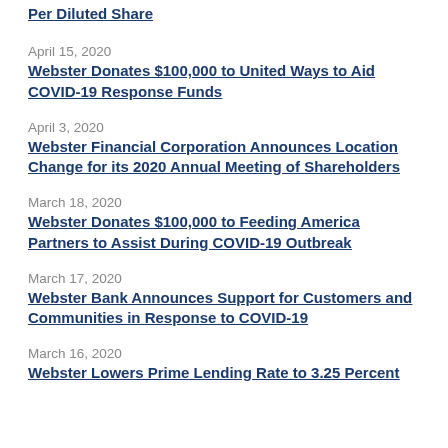Per Diluted Share
April 15, 2020
Webster Donates $100,000 to United Ways to Aid COVID-19 Response Funds
April 3, 2020
Webster Financial Corporation Announces Location Change for its 2020 Annual Meeting of Shareholders
March 18, 2020
Webster Donates $100,000 to Feeding America Partners to Assist During COVID-19 Outbreak
March 17, 2020
Webster Bank Announces Support for Customers and Communities in Response to COVID-19
March 16, 2020
Webster Lowers Prime Lending Rate to 3.25 Percent